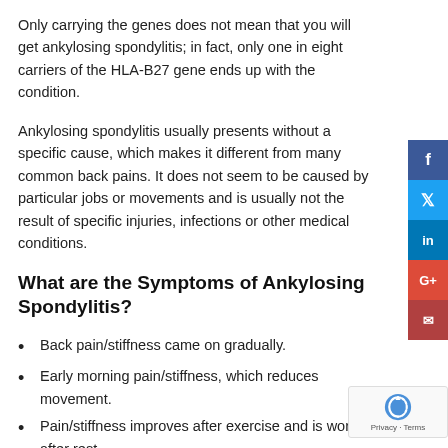Only carrying the genes does not mean that you will get ankylosing spondylitis; in fact, only one in eight carriers of the HLA-B27 gene ends up with the condition.
Ankylosing spondylitis usually presents without a specific cause, which makes it different from many common back pains. It does not seem to be caused by particular jobs or movements and is usually not the result of specific injuries, infections or other medical conditions.
What are the Symptoms of Ankylosing Spondylitis?
Back pain/stiffness came on gradually.
Early morning pain/stiffness, which reduces movement.
Pain/stiffness improves after exercise and is worse after rest.
Sleep disturbance, particularly in the second half of the night.
Persistence of the above symptoms for more than months.
Pain, discomfort from sitting often and other...